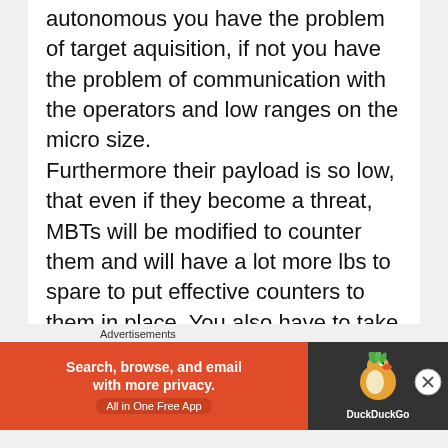autonomous you have the problem of target aquisition, if not you have the problem of communication with the operators and low ranges on the micro size. Furthermore their payload is so low, that even if they become a threat, MBTs will be modified to counter them and will have a lot more lbs to spare to put effective counters to them in place. You also have to take into account, that MBTs dont operate alone, they are supported by their by other MBTs and everything inside their units, for example dedicated AA or dedicated EW.
[Figure (other): DuckDuckGo advertisement banner: 'Search, browse, and email with more privacy. All in One Free App' with DuckDuckGo logo on dark background.]